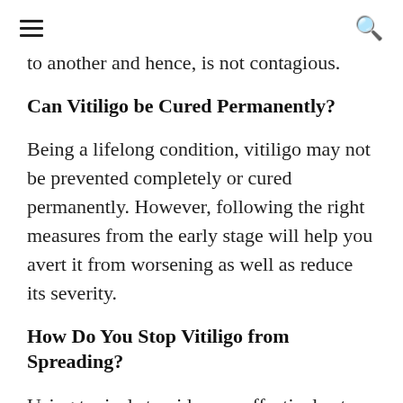≡  🔍
to another and hence, is not contagious.
Can Vitiligo be Cured Permanently?
Being a lifelong condition, vitiligo may not be prevented completely or cured permanently. However, following the right measures from the early stage will help you avert it from worsening as well as reduce its severity.
How Do You Stop Vitiligo from Spreading?
Using topical steroids may effectively stop vitiligo patches from spreading in adults